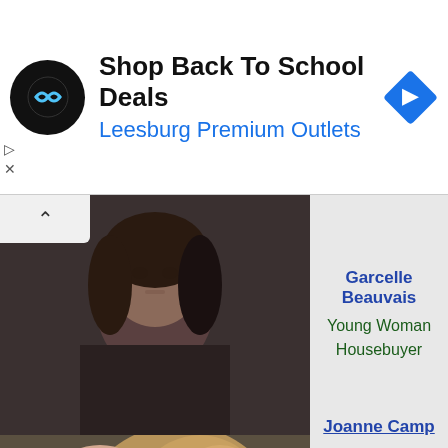[Figure (screenshot): Advertisement banner: Shop Back To School Deals, Leesburg Premium Outlets, with circular logo and blue arrow icon]
[Figure (photo): Garcelle Beauvais as Young Woman Housebuyer - photo of a young Black woman with braids]
Garcelle Beauvais
Young Woman
Housebuyer
[Figure (photo): Joanne Camp as Mother on Plane - close-up photo of a woman with curly blonde hair]
Joanne Camp
Mother on Plane